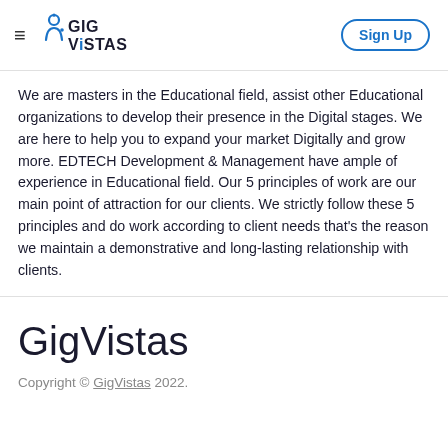GigVistas — Sign Up
We are masters in the Educational field, assist other Educational organizations to develop their presence in the Digital stages. We are here to help you to expand your market Digitally and grow more. EDTECH Development & Management have ample of experience in Educational field. Our 5 principles of work are our main point of attraction for our clients. We strictly follow these 5 principles and do work according to client needs that's the reason we maintain a demonstrative and long-lasting relationship with clients.
GigVistas
Copyright © GigVistas 2022.